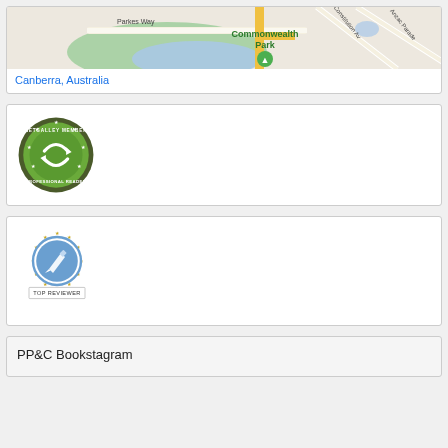[Figure (map): Google Maps screenshot showing Commonwealth Park area in Canberra, Australia, with Parkes Way, Constitution Ave, Anzac Parade labels visible.]
Canberra, Australia
[Figure (logo): NetGalley Member Professional Reader badge - circular green badge with arrows logo and star border]
[Figure (logo): Top Reviewer badge - circular blue badge with pencil/check icon and star border, labeled TOP REVIEWER]
PP&C Bookstagram